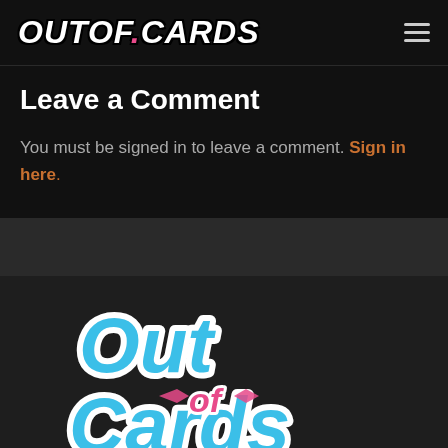OUTOF.CARDS
Leave a Comment
You must be signed in to leave a comment. Sign in here.
[Figure (logo): Out of Cards logo in stylized blue bubble letters with pink accents on dark background]